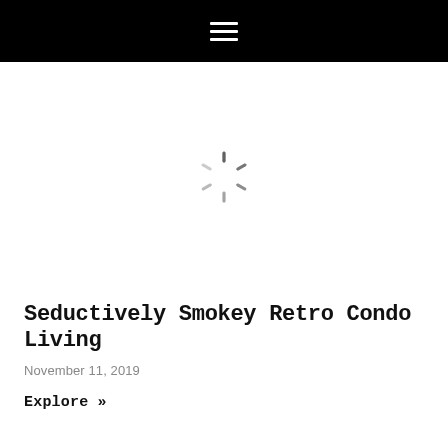≡
[Figure (other): Loading spinner / activity indicator icon in gray, circular arrangement of radial lines]
Seductively Smokey Retro Condo Living
November 11, 2019
Explore »